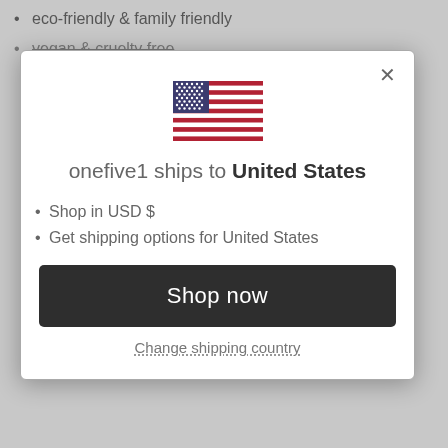eco-friendly & family friendly
vegan & cruelty free
[Figure (illustration): US flag modal dialog with shipping country selector showing United States flag icon, text 'onefive1 ships to United States', bullet points for USD and shipping options, Shop now button, and Change shipping country link]
onefive1 ships to United States
Shop in USD $
Get shipping options for United States
Shop now
Change shipping country